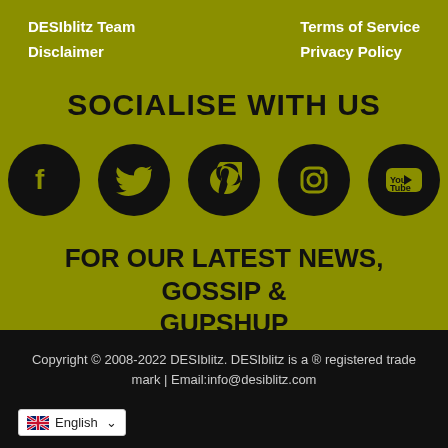DESIblitz Team
Disclaimer
Terms of Service
Privacy Policy
SOCIALISE WITH US
[Figure (infographic): Five social media icons (Facebook, Twitter, Pinterest, Instagram, YouTube) as black circles on olive background]
FOR OUR LATEST NEWS, GOSSIP & GUPSHUP
Copyright © 2008-2022 DESIblitz. DESIblitz is a ® registered trade mark | Email:info@desiblitz.com
English